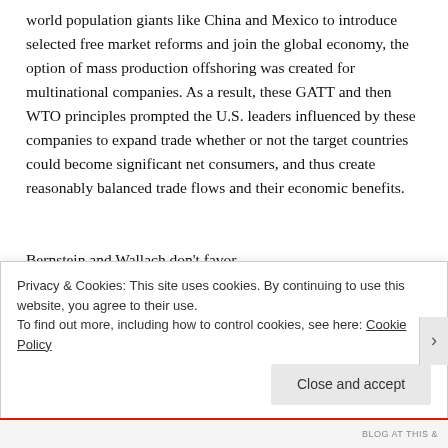world population giants like China and Mexico to introduce selected free market reforms and join the global economy, the option of mass production offshoring was created for multinational companies. As a result, these GATT and then WTO principles prompted the U.S. leaders influenced by these companies to expand trade whether or not the target countries could become significant net consumers, and thus create reasonably balanced trade flows and their economic benefits.
Bernstein and Wallach don't favor
Privacy & Cookies: This site uses cookies. By continuing to use this website, you agree to their use.
To find out more, including how to control cookies, see here: Cookie Policy
Close and accept